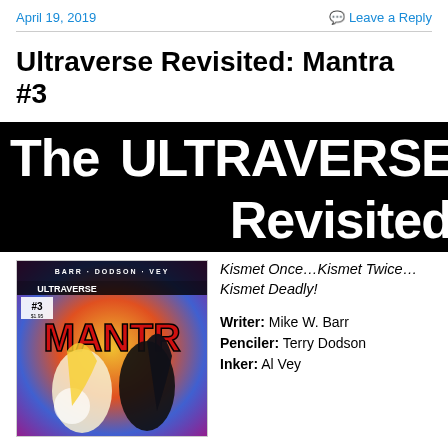April 19, 2019   Leave a Reply
Ultraverse Revisited: Mantra #3
[Figure (illustration): Black banner with white bold text reading 'The ULTRAVERSE Revisited']
[Figure (illustration): Comic book cover for Mantra #3 featuring colorful superhero artwork with characters, credits BARR · DODSON · VEY, issue number #3]
Kismet Once…Kismet Twice…Kismet Deadly!
Writer: Mike W. Barr
Penciler: Terry Dodson
Inker: Al Vey